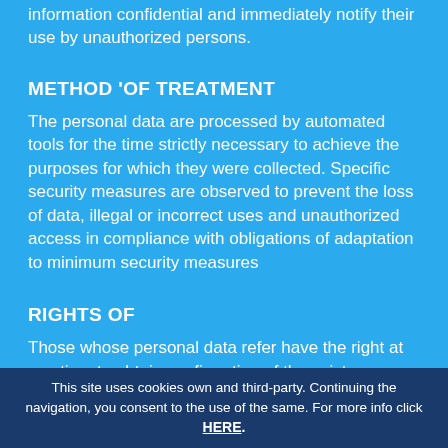information confidential and immediately notify their use by unauthorized persons.
METHOD 'OF TREATMENT
The personal data are processed by automated tools for the time strictly necessary to achieve the purposes for which they were collected. Specific security measures are observed to prevent the loss of data, illegal or incorrect uses and unauthorized access in compliance with obligations of adaptation to minimum security measures
RIGHTS OF
Those whose personal data refer have the right at any time to obtain confirmation of the existence or
This site uses cookies own and third-party. Continuing the navigation, you consent to the use of the same. For more info click HERE.